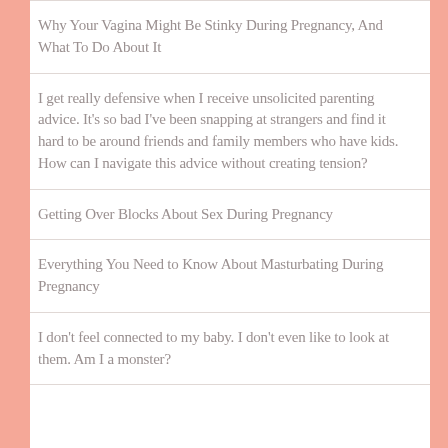Why Your Vagina Might Be Stinky During Pregnancy, And What To Do About It
I get really defensive when I receive unsolicited parenting advice. It's so bad I've been snapping at strangers and find it hard to be around friends and family members who have kids. How can I navigate this advice without creating tension?
Getting Over Blocks About Sex During Pregnancy
Everything You Need to Know About Masturbating During Pregnancy
I don't feel connected to my baby. I don't even like to look at them. Am I a monster?